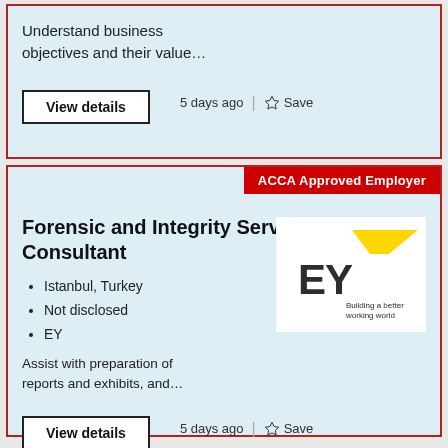Understand business objectives and their value…
View details
5 days ago
Save
ACCA Approved Employer
Forensic and Integrity Services - Consultant
Istanbul, Turkey
Not disclosed
EY
[Figure (logo): EY logo with tagline 'Building a better working world']
Assist with preparation of reports and exhibits, and…
View details
5 days ago
Save